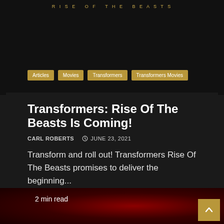[Figure (screenshot): Dark movie banner for Transformers: Rise of the Beasts with golden letter-spaced title text and category tag buttons: Articles, Movies, Transformers, Transformers Movies]
Transformers: Rise Of The Beasts Is Coming!
CARL ROBERTS   ⌚ JUNE 23, 2021
Transform and roll out! Transformers Rise Of The Beasts promises to deliver the beginning...
READ MORE
[Figure (photo): Movie poster image showing a character with a weapon against a red neon-lit background. Overlay text reads '2 min read'. Gold scroll-to-top button in bottom right corner.]